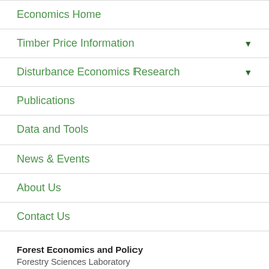Economics Home
Timber Price Information
Disturbance Economics Research
Publications
Data and Tools
News & Events
About Us
Contact Us
Forest Economics and Policy
Forestry Sciences Laboratory
PO Box 12254
Research Triangle Park, NC 27709-2254